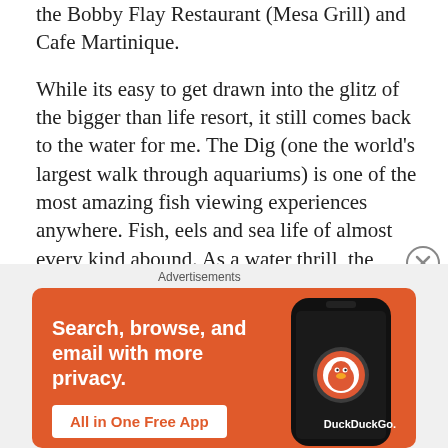the Bobby Flay Restaurant (Mesa Grill) and Cafe Martinique.
While its easy to get drawn into the glitz of the bigger than life resort, it still comes back to the water for me. The Dig (one the world’s largest walk through aquariums) is one of the most amazing fish viewing experiences anywhere. Fish, eels and sea life of almost every kind abound. As a water thrill, the “Leap of Faith” a.k.a. Shark Slide, has no equal. As you jump into the tube at the top, you must cross your feet and fold your arms (lest they be ripped from your torso). You drop 60 feet at breakneck
[Figure (other): Advertisement banner for DuckDuckGo app. Orange background with text 'Search, browse, and email with more privacy.' and button 'All in One Free App' with a phone image showing DuckDuckGo logo.]